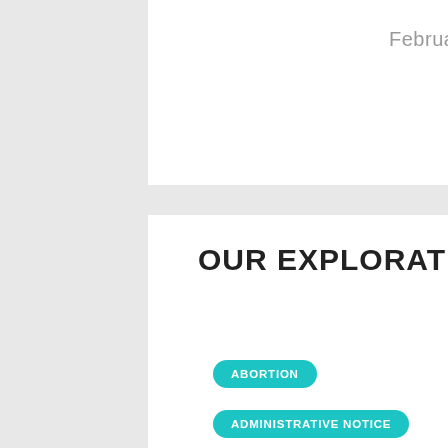February 21, 2017
Next »
OUR EXPLORATIONS
ABORTION
ADMINISTRATIVE NOTICE
BEAUX ARTS
CAPITAL
[Figure (infographic): Social sharing icons: Telegram, Facebook, LinkedIn, Twitter, MW, SMS, Email, Print, Add]